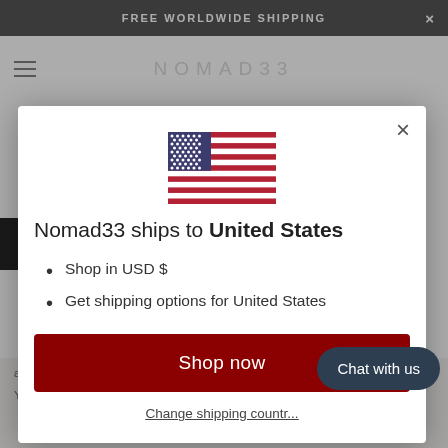FREE WORLDWIDE SHIPPING
[Figure (screenshot): Website background showing NOMAD33 header and article text partially visible behind modal overlay]
[Figure (illustration): United States flag SVG illustration displayed at top of modal dialog]
Nomad33 ships to United States
Shop in USD $
Get shipping options for United States
Shop now
Change shipping country
associate it with many elements of interior d...
You will have understood, there is always a Berber carpet which